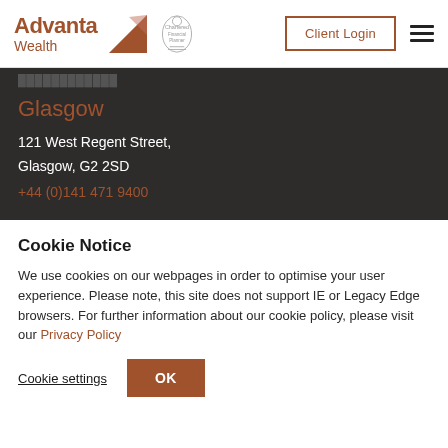Advanta Wealth | Client Login
Glasgow
121 West Regent Street,
Glasgow, G2 2SD
+44 (0)141 471 9400
Cookie Notice
We use cookies on our webpages in order to optimise your user experience. Please note, this site does not support IE or Legacy Edge browsers. For further information about our cookie policy, please visit our Privacy Policy
Cookie settings
OK